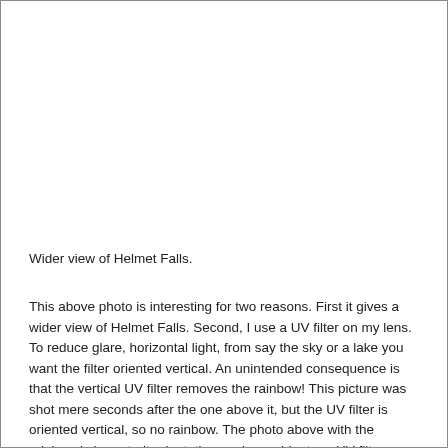[Figure (photo): Wider view of Helmet Falls photograph (image area, content not visible in this crop)]
Wider view of Helmet Falls.
This above photo is interesting for two reasons. First it gives a wider view of Helmet Falls. Second, I use a UV filter on my lens. To reduce glare, horizontal light, from say the sky or a lake you want the filter oriented vertical. An unintended consequence is that the vertical UV filter removes the rainbow! This picture was shot mere seconds after the one above it, but the UV filter is oriented vertical, so no rainbow. The photo above with the rainbow is in portrait orientation, so by accident my UV filter was oriented horizontally. So to get a rainbow you have to make sure the filter is oriented horizontally. I learned this after